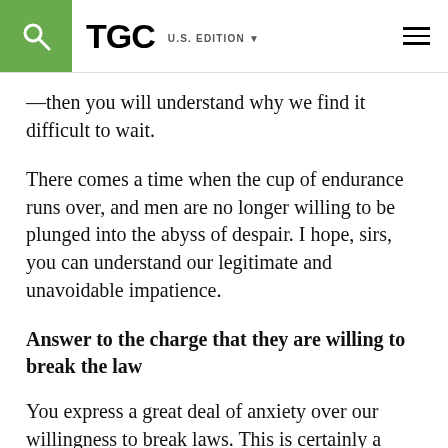TGC U.S. EDITION
—then you will understand why we find it difficult to wait.
There comes a time when the cup of endurance runs over, and men are no longer willing to be plunged into the abyss of despair. I hope, sirs, you can understand our legitimate and unavoidable impatience.
Answer to the charge that they are willing to break the law
You express a great deal of anxiety over our willingness to break laws. This is certainly a